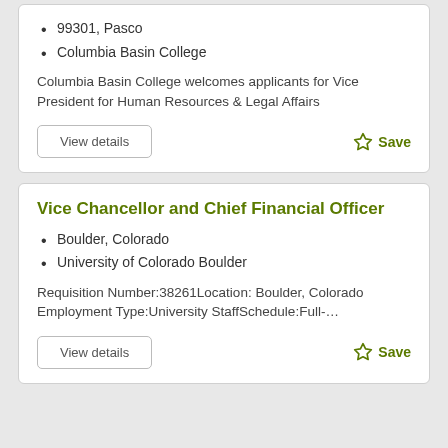99301, Pasco
Columbia Basin College
Columbia Basin College welcomes applicants for Vice President for Human Resources & Legal Affairs
Vice Chancellor and Chief Financial Officer
Boulder, Colorado
University of Colorado Boulder
Requisition Number:38261Location: Boulder, Colorado Employment Type:University StaffSchedule:Full-...